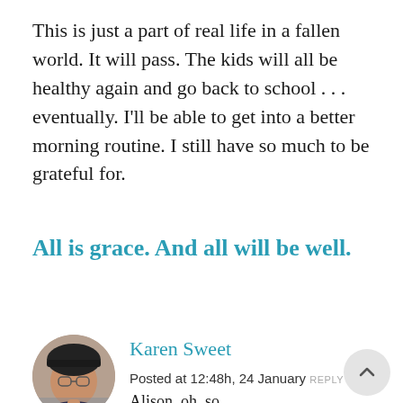This is just a part of real life in a fallen world. It will pass. The kids will all be healthy again and go back to school . . . eventually. I'll be able to get into a better morning routine. I still have so much to be grateful for.
All is grace. And all will be well.
[Figure (photo): Circular avatar photo of Karen Sweet, a woman wearing glasses and a dark hat]
Karen Sweet
Posted at 12:48h, 24 January REPLY
Alison, oh, so,